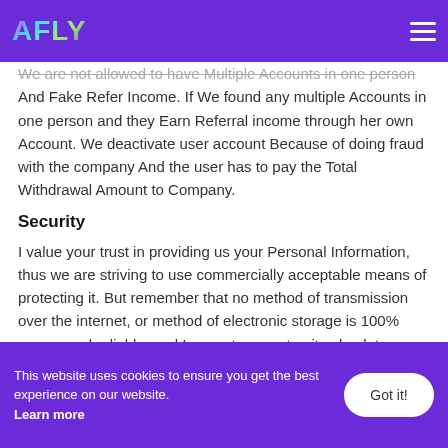AFLY
We are not allowed to have Multiple Accounts in one person And Fake Refer Income. If We found any multiple Accounts in one person and they Earn Referral income through her own Account. We deactivate user account Because of doing fraud with the company And the user has to pay the Total Withdrawal Amount to Company.
Security
I value your trust in providing us your Personal Information, thus we are striving to use commercially acceptable means of protecting it. But remember that no method of transmission over the internet, or method of electronic storage is 100% secure and reliable, and I cannot guarantee its absolute security.
This website uses cookies to ensure you get the best experience on our website. Learn more  Got it!